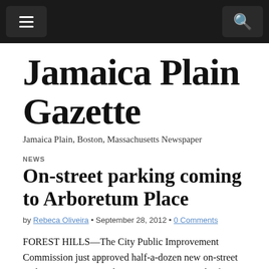Jamaica Plain Gazette — navigation bar
Jamaica Plain Gazette
Jamaica Plain, Boston, Massachusetts Newspaper
NEWS
On-street parking coming to Arboretum Place
by Rebeca Oliveira • September 28, 2012 • 0 Comments
FOREST HILLS—The City Public Improvement Commission just approved half-a-dozen new on-street parking spaces on Washington Street just south of Ukraine Way to accommodate customers for the Arboretum Place development.